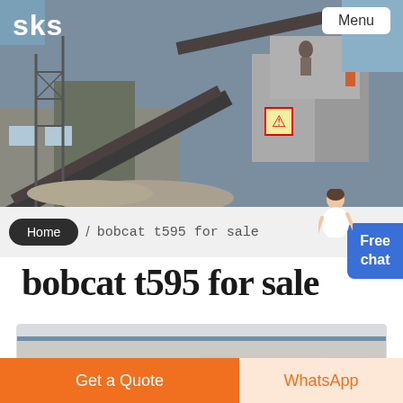[Figure (photo): Industrial machinery and equipment at a construction or mining site, workers visible in background, conveyor belts and large machinery components]
sks
Menu
Home / bobcat t595 for sale
Free chat
bobcat t595 for sale
[Figure (photo): Building exterior with windows, grey/white siding, industrial building]
Get a Quote
WhatsApp